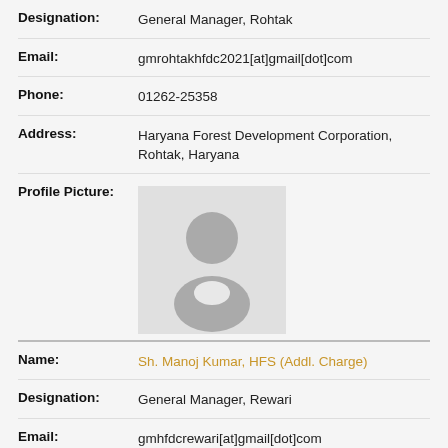| Designation: | General Manager, Rohtak |
| Email: | gmrohtakhfdc2021[at]gmail[dot]com |
| Phone: | 01262-25358 |
| Address: | Haryana Forest Development Corporation, Rohtak, Haryana |
| Profile Picture: | (profile photo placeholder) |
| Name: | Sh. Manoj Kumar, HFS (Addl. Charge) |
| Designation: | General Manager, Rewari |
| Email: | gmhfdcrewari[at]gmail[dot]com |
| Address: | Haryana Forest Development Corporation, Masani Barrage, Near Khaliawas, Dharuhera, Rewari, Haryana |